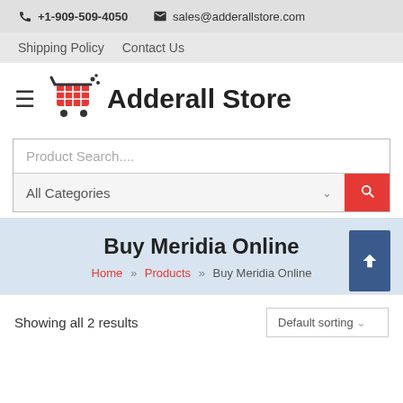📞 +1-909-509-4050  ✉ sales@adderallstore.com
Shipping Policy  Contact Us
Adderall Store
Product Search....
All Categories
Buy Meridia Online
Home » Products » Buy Meridia Online
Showing all 2 results
Default sorting